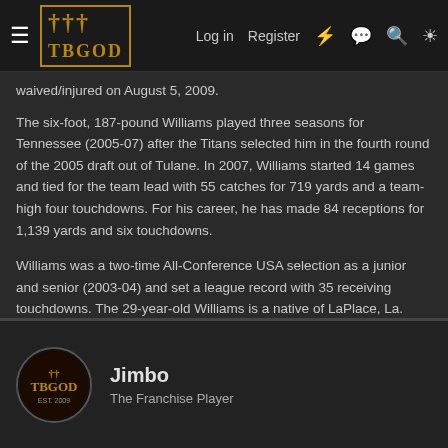Log in  Register
waived/injured on August 5, 2009.
The six-foot, 187-pound Williams played three seasons for Tennessee (2005-07) after the Titans selected him in the fourth round of the 2005 draft out of Tulane. In 2007, Williams started 14 games and tied for the team lead with 55 catches for 719 yards and a team-high four touchdowns. For his career, he has made 84 receptions for 1,139 yards and six touchdowns.
Williams was a two-time All-Conference USA selection as a junior and senior (2003-04) and set a league record with 35 receiving touchdowns. The 29-year-old Williams is a native of LaPlace, La.
Jimbo
The Franchise Player